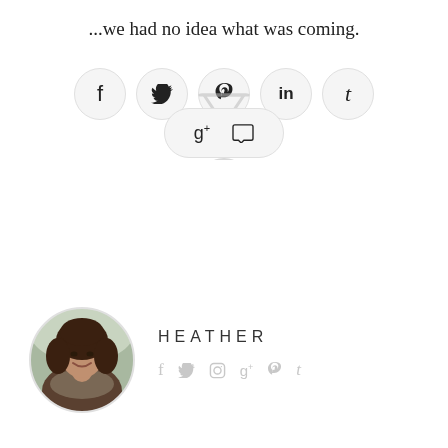...we had no idea what was coming.
[Figure (other): Social sharing buttons: Facebook, Twitter, Pinterest, LinkedIn, Tumblr in pill/circle shapes, plus a second row with Google+ and Comment icons in an oval, overlaid with an hourglass graphic]
[Figure (photo): Circular portrait photo of a woman named Heather with dark curly hair, smiling, wearing a patterned scarf, outdoors with blurred background]
HEATHER
[Figure (other): Author social media icons: Facebook, Twitter, Instagram, Google+, Pinterest, Tumblr — shown in light gray]